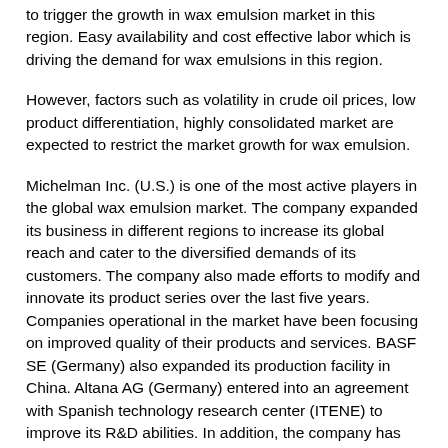to trigger the growth in wax emulsion market in this region. Easy availability and cost effective labor which is driving the demand for wax emulsions in this region.
However, factors such as volatility in crude oil prices, low product differentiation, highly consolidated market are expected to restrict the market growth for wax emulsion.
Michelman Inc. (U.S.) is one of the most active players in the global wax emulsion market. The company expanded its business in different regions to increase its global reach and cater to the diversified demands of its customers. The company also made efforts to modify and innovate its product series over the last five years. Companies operational in the market have been focusing on improved quality of their products and services. BASF SE (Germany) also expanded its production facility in China. Altana AG (Germany) entered into an agreement with Spanish technology research center (ITENE) to improve its R&D abilities. In addition, the company has acquired several wax